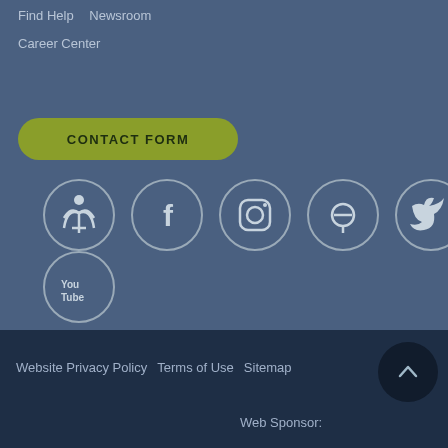Find Help   Newsroom   Career Center
CONTACT FORM
[Figure (illustration): Row of social media icons in circular outlines: custom icon, Facebook, Instagram, Pinterest, Twitter; second row: YouTube]
Website Privacy Policy   Terms of Use   Sitemap   Web Sponsor: